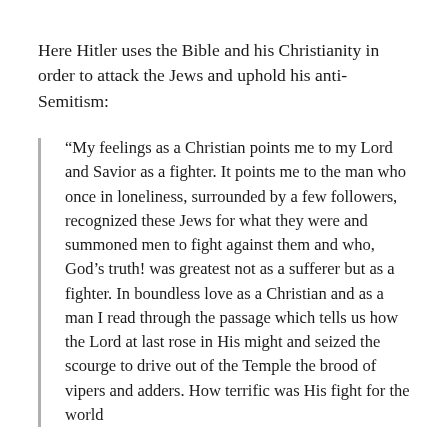Here Hitler uses the Bible and his Christianity in order to attack the Jews and uphold his anti-Semitism:
“My feelings as a Christian points me to my Lord and Savior as a fighter. It points me to the man who once in loneliness, surrounded by a few followers, recognized these Jews for what they were and summoned men to fight against them and who, God’s truth! was greatest not as a sufferer but as a fighter. In boundless love as a Christian and as a man I read through the passage which tells us how the Lord at last rose in His might and seized the scourge to drive out of the Temple the brood of vipers and adders. How terrific was His fight for the world against the Jewish poison. To-day, after…